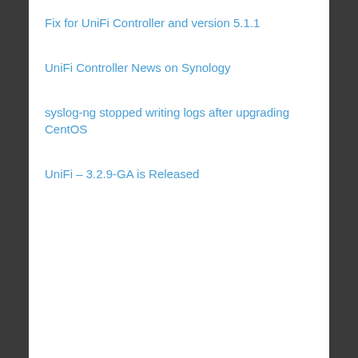Fix for UniFi Controller and version 5.1.1
UniFi Controller News on Synology
syslog-ng stopped writing logs after upgrading CentOS
UniFi – 3.2.9-GA is Released